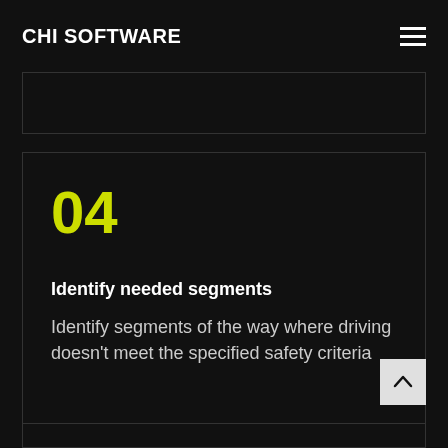CHI SOFTWARE
04
Identify needed segments
Identify segments of the way where driving doesn't meet the specified safety criteria